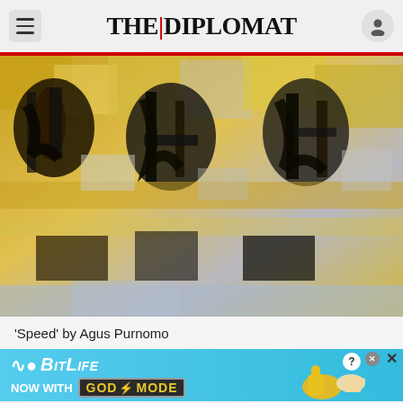THE DIPLOMAT
[Figure (photo): Abstract artwork with gold, black and white brushstrokes resembling East Asian calligraphy characters, 'Speed' by Agus Purnomo]
'Speed' by Agus Purnomo
[Figure (infographic): BitLife advertisement banner: NOW WITH GOD MODE, featuring thumbs-up hand illustration and a pointing hand, on a light blue background]